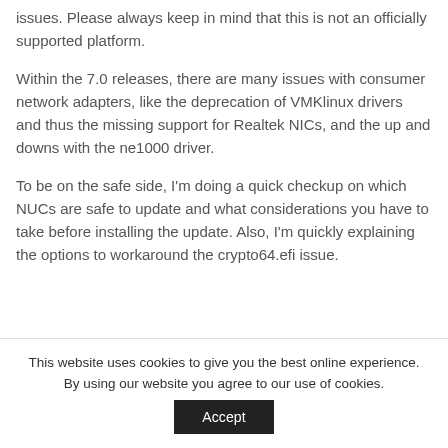issues. Please always keep in mind that this is not an officially supported platform.
Within the 7.0 releases, there are many issues with consumer network adapters, like the deprecation of VMKlinux drivers and thus the missing support for Realtek NICs, and the up and downs with the ne1000 driver.
To be on the safe side, I'm doing a quick checkup on which NUCs are safe to update and what considerations you have to take before installing the update. Also, I'm quickly explaining the options to workaround the crypto64.efi issue.
This website uses cookies to give you the best online experience. By using our website you agree to our use of cookies.